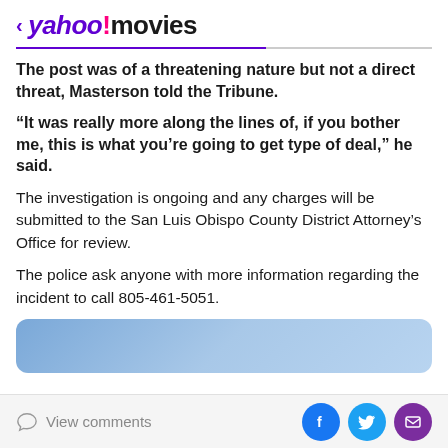< yahoo!movies
The post was of a threatening nature but not a direct threat, Masterson told the Tribune.
“It was really more along the lines of, if you bother me, this is what you’re going to get type of deal,” he said.
The investigation is ongoing and any charges will be submitted to the San Luis Obispo County District Attorney’s Office for review.
The police ask anyone with more information regarding the incident to call 805-461-5051.
[Figure (other): Blue gradient rounded rectangle banner]
View comments | Social share buttons: Facebook, Twitter, Email